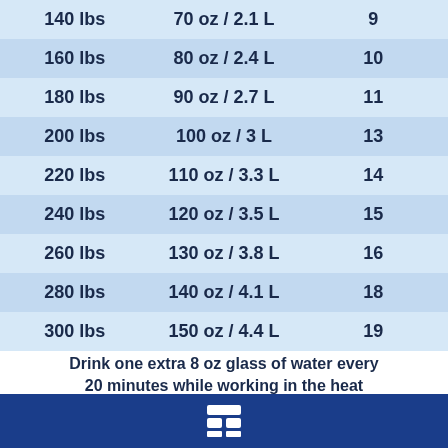| Weight | Daily Water Intake | Glasses |
| --- | --- | --- |
| 140 lbs | 70 oz / 2.1 L | 9 |
| 160 lbs | 80 oz / 2.4 L | 10 |
| 180 lbs | 90 oz / 2.7 L | 11 |
| 200 lbs | 100 oz / 3 L | 13 |
| 220 lbs | 110 oz / 3.3 L | 14 |
| 240 lbs | 120 oz / 3.5 L | 15 |
| 260 lbs | 130 oz / 3.8 L | 16 |
| 280 lbs | 140 oz / 4.1 L | 18 |
| 300 lbs | 150 oz / 4.4 L | 19 |
Drink one extra 8 oz glass of water every 20 minutes while working in the heat
[Figure (logo): White table/grid icon on dark blue background footer bar]